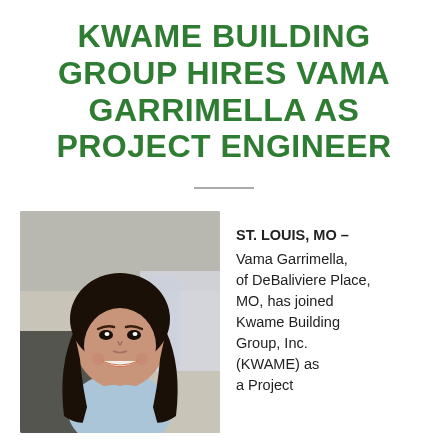KWAME BUILDING GROUP HIRES VAMA GARRIMELLA AS PROJECT ENGINEER
[Figure (photo): Headshot of Vama Garrimella, a young woman with long dark wavy hair, smiling, wearing a light blue top, with a blurred indoor background.]
ST. LOUIS, MO – Vama Garrimella, of DeBaliviere Place, MO, has joined Kwame Building Group, Inc. (KWAME) as a Project